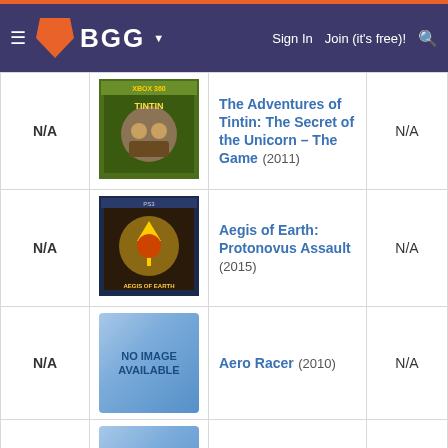BGG — Sign In   Join (it's free)!
| Rank | Image | Name | Rating |
| --- | --- | --- | --- |
| N/A | [Tintin image] | The Adventures of Tintin: The Secret of the Unicorn – The Game (2011) | N/A |
| N/A | [Aegis of Earth image] | Aegis of Earth: Protonovus Assault (2015) | N/A |
| N/A | [No Image Available] | Aero Racer (2010) | N/A |
| N/A | [No Image Available] | AFL Live (2011) | N/A |
| N/A | [Afrika image] | Afrika (2008) | N/A |